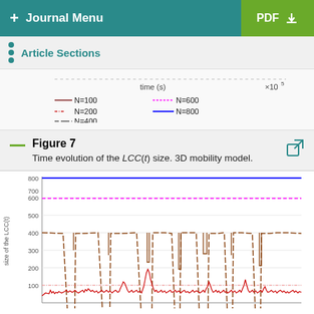+ Journal Menu | PDF
Article Sections
[Figure (line-chart): Partial view of a line chart showing time (s) x10^5 on x-axis with legend entries N=100, N=200, N=400, N=600, N=800]
Figure 7
Time evolution of the LCC(t) size. 3D mobility model.
[Figure (line-chart): Line chart showing size of LCC(t) vs time for N=100 (red noisy), N=200 (red dash-dot), N=400 (dark red/brown dashed around 400), N=600 (magenta dashed around 600), N=800 (blue solid around 800). Y-axis: 0 to 800+. X-axis: time in units of 10^5.]